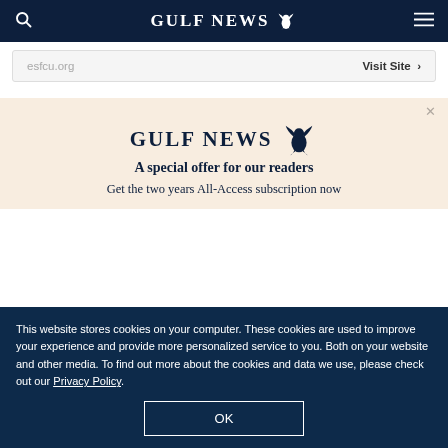GULF NEWS
esfcu.org    Visit Site >
GULF NEWS
A special offer for our readers
Get the two years All-Access subscription now
This website stores cookies on your computer. These cookies are used to improve your experience and provide more personalized service to you. Both on your website and other media. To find out more about the cookies and data we use, please check out our Privacy Policy.
OK